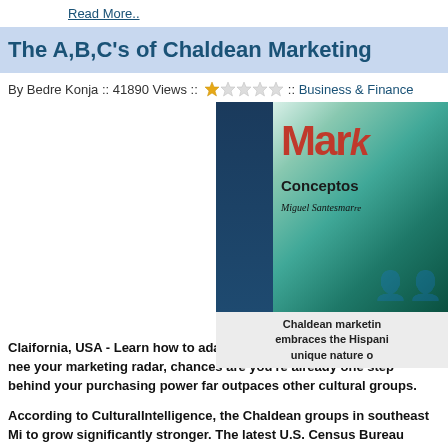Read More..
The A,B,C's of Chaldean Marketing
By Bedre Konja :: 41890 Views :: [1 star rating] :: Business & Finance
[Figure (photo): Photo of a marketing book cover (Marke... Conceptos, Miguel Santesmares) with caption: Chaldean marketing embraces the Hispanic unique nature o...]
Chaldean marketing embraces the Hispanic unique nature o
Claifornia, USA - Learn how to adapt your marketing strategy to the nee... your marketing radar, chances are you're already one step behind your... purchasing power far outpaces other cultural groups.
According to CulturalIntelligence, the Chaldean groups in southeast Mi... to grow significantly stronger. The latest U.S. Census Bureau figures de... dispensable income.